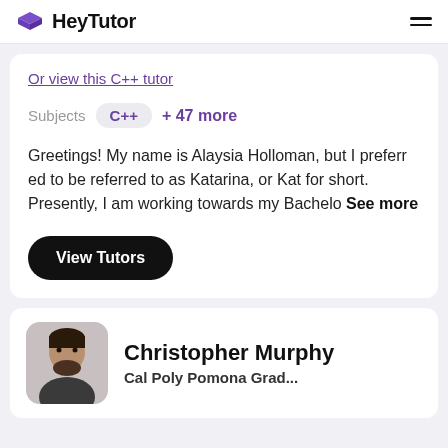HeyTutor
Or view this C++ tutor
Subjects   C++   + 47 more
Greetings! My name is Alaysia Holloman, but I preferred to be referred to as Katarina, or Kat for short. Presently, I am working towards my Bachelo See more
View Tutors
Christopher Murphy
Cal Poly Pomona Grad...